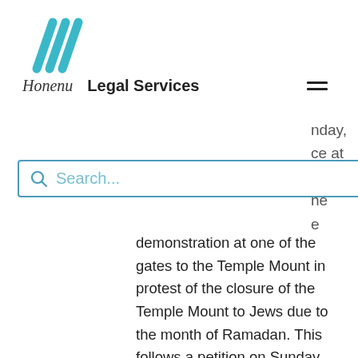[Figure (logo): Honenu teal diagonal lines logo]
Honenu   Legal Services
nday, ce at on he e
Search...
demonstration at one of the gates to the Temple Mount in protest of the closure of the Temple Mount to Jews due to the month of Ramadan. This follows a petition on Sunday, July 12 by Honenu attorney Itzik Bam to the Supreme Court of Israel following the refusal of the police to allow a protest on Tuesday, July 14 at one of the gates to the Temple Mount.